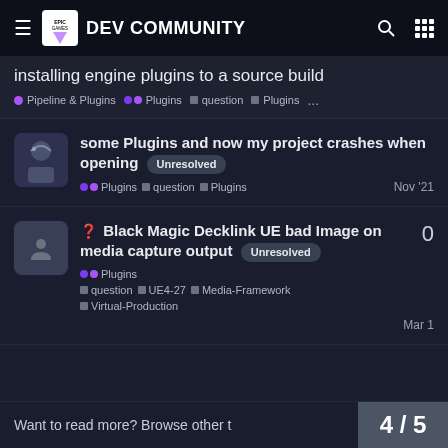EPIC GAMES DEV COMMUNITY
installing engine plugins to a source build
Pipeline & Plugins · Plugins · question · Plugins · ...
some Plugins and now my project crashes when opening [Unresolved] · Plugins · question · Plugins — Nov '21
❓ Black Magic Decklink UE bad Image on media capture output [Unresolved] · Plugins · question · UE4-27 · Media-Framework · Virtual-Production — Mar 1 — 0 replies
Want to read more? Browse other t … 4 / 5